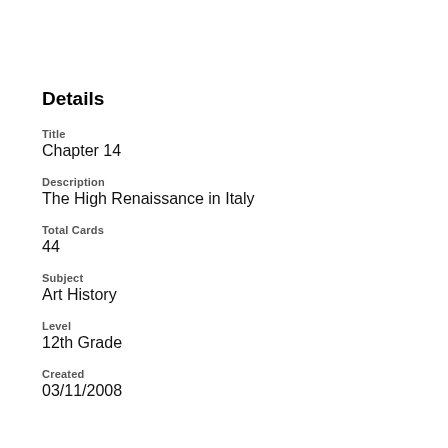Details
Title
Chapter 14
Description
The High Renaissance in Italy
Total Cards
44
Subject
Art History
Level
12th Grade
Created
03/11/2008